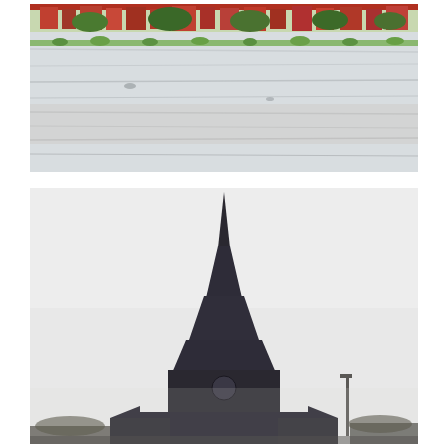[Figure (photo): A wide, flat flooded area or large river/water surface viewed from above or at a low angle. In the background at the top of the image there are colorful urban structures, bicycles, and red railings or scaffolding. The water surface shows light reflections and some green plants/vegetation along a barrier or levee in the middle ground.]
[Figure (photo): A tall church steeple/spire silhouetted against a bright, overcast white-grey sky. The dark silhouette of the Gothic-style church with a very tall pointed spire dominates the center of the image. Below the steeple is the body of the church building and surrounding rooftops and trees. A street lamp post is visible to the right side.]